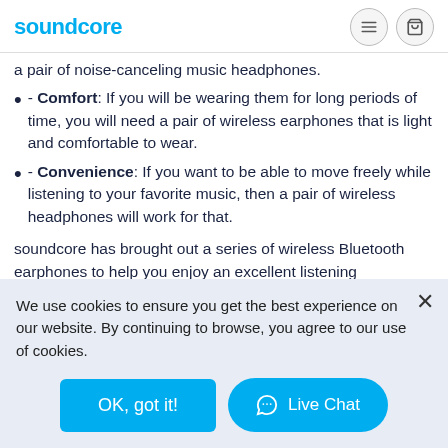soundcore
a pair of noise-canceling music headphones.
- Comfort: If you will be wearing them for long periods of time, you will need a pair of wireless earphones that is light and comfortable to wear.
- Convenience: If you want to be able to move freely while listening to your favorite music, then a pair of wireless headphones will work for that.
soundcore has brought out a series of wireless Bluetooth earphones to help you enjoy an excellent listening experience within a limited budget.
We use cookies to ensure you get the best experience on our website. By continuing to browse, you agree to our use of cookies.